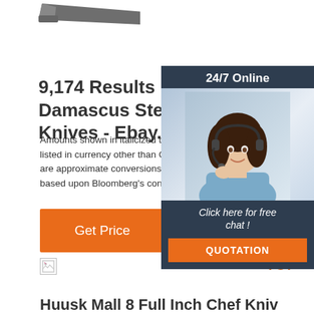[Figure (illustration): Partial knife image visible at top left corner]
9,174 Results For Damascus Steel Chef Knives - Ebay.Ca
Amounts shown in italicized text are for items listed in currency other than Canadian dollars and are approximate conversions to Canadian dollars based upon Bloomberg's conversion
[Figure (photo): Chat widget with woman wearing headset, dark blue background, '24/7 Online' header, 'Click here for free chat!' text and QUOTATION button]
Get Price
[Figure (illustration): TOP button with orange dotted arc above orange TOP text]
[Figure (illustration): Broken image icon placeholder]
Huusk Mall 8 Full Inch Chef Knives